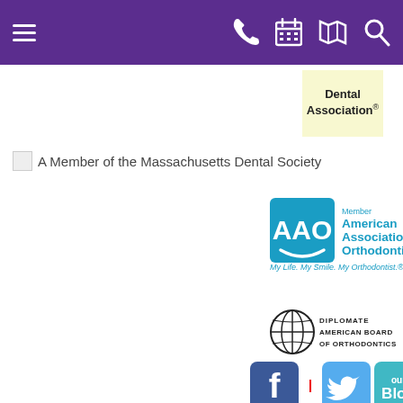[Figure (screenshot): Purple navigation bar with hamburger menu on left and phone, calendar, map, and search icons on right in white]
[Figure (logo): Dental Association logo with registered trademark on light yellow background]
[Figure (logo): A Member of the Massachusetts Dental Society badge with broken image icon]
[Figure (logo): AAO Member American Association of Orthodontists logo with tagline My Life. My Smile. My Orthodontist.]
[Figure (logo): Diplomate American Board of Orthodontics logo with globe icon]
[Figure (logo): Facebook, Twitter and Our Blog social media icons]